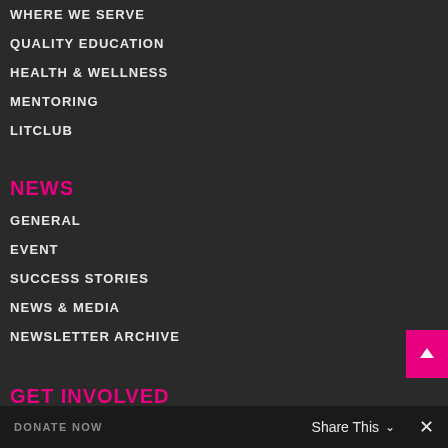WHERE WE SERVE
QUALITY EDUCATION
HEALTH & WELLNESS
MENTORING
LITCLUB
NEWS
GENERAL
EVENT
SUCCESS STORIES
NEWS & MEDIA
NEWSLETTER ARCHIVE
GET INVOLVED
DONATE NOW   Share This   ✕